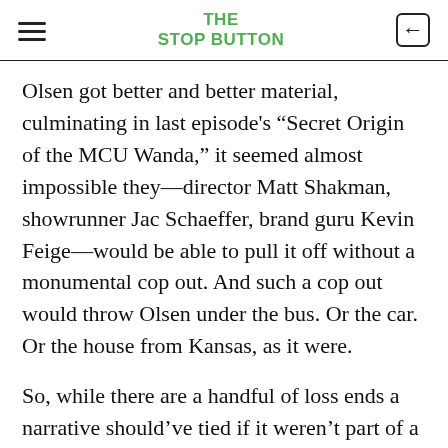THE STOP BUTTON
Olsen got better and better material, culminating in last episode’s “Secret Origin of the MCU Wanda,” it seemed almost impossible they—director Matt Shakman, showrunner Jac Schaeffer, brand guru Kevin Feige—would be able to pull it off without a monumental cop out. And such a cop out would throw Olsen under the bus. Or the car. Or the house from Kansas, as it were.
So, while there are a handful of loss ends a narrative should’ve tied if it weren’t part of a billion dollar umbrella franchise, some glazed over intensely tragic, dramatic moments eve…